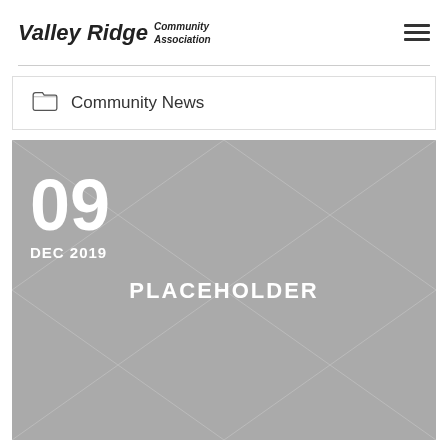Valley Ridge Community Association
Community News
[Figure (photo): Placeholder image with an X cross pattern in gray, overlaid with the date 09 DEC 2019 in white text at the top left and the word PLACEHOLDER centered in white bold text.]